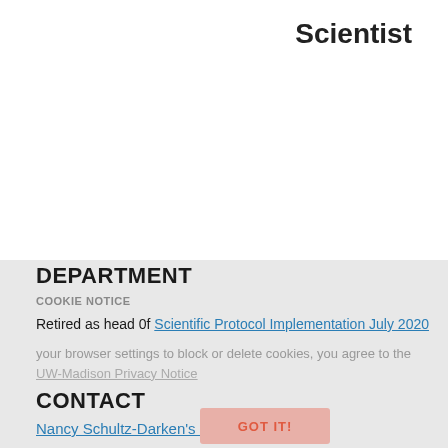Scientist
DEPARTMENT
COOKIE NOTICE
Retired as head 0f Scientific Protocol Implementation July 2020
In this community, we use cookies to improve your experience. By using our browser settings to block or delete cookies, you agree to the UW-Madison Privacy Notice
CONTACT
GOT IT!
Nancy Schultz-Darken's email
(608) 262-2562